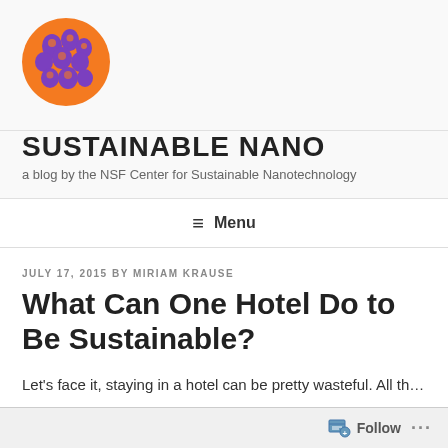[Figure (logo): Circular logo with purple and orange blob/sphere shapes on an orange background, for Sustainable Nano blog]
SUSTAINABLE NANO
a blog by the NSF Center for Sustainable Nanotechnology
≡ Menu
JULY 17, 2015 BY MIRIAM KRAUSE
What Can One Hotel Do to Be Sustainable?
Let's face it, staying in a hotel can be pretty wasteful. All the…